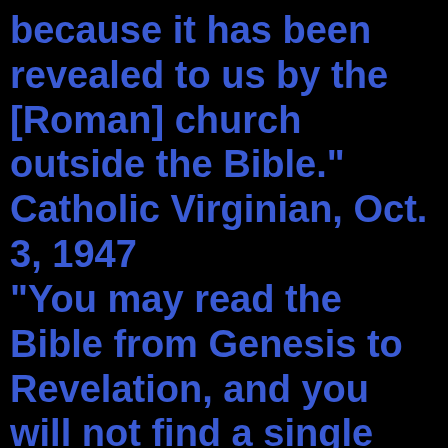because it has been revealed to us by the [Roman] church outside the Bible." Catholic Virginian, Oct. 3, 1947 "You may read the Bible from Genesis to Revelation, and you will not find a single line authorizing the sanctification of Sunday. The Scriptures enforce the religious observance of Saturday, a day which we